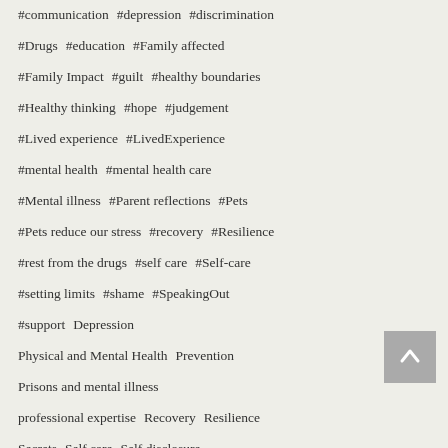#communication  #depression  #discrimination  #Drugs  #education  #Family affected  #Family Impact  #guilt  #healthy boundaries  #Healthy thinking  #hope  #judgement  #Lived experience  #LivedExperience  #mental health  #mental health care  #Mental illness  #Parent reflections  #Pets  #Pets reduce our stress  #recovery  #Resilience  #rest from the drugs  #self care  #Self-care  #setting limits  #shame  #SpeakingOut  #support  Depression  Physical and Mental Health  Prevention  Prisons and mental illness  professional expertise  Recovery  Resilience  Secrets  Self care  Self disclosure